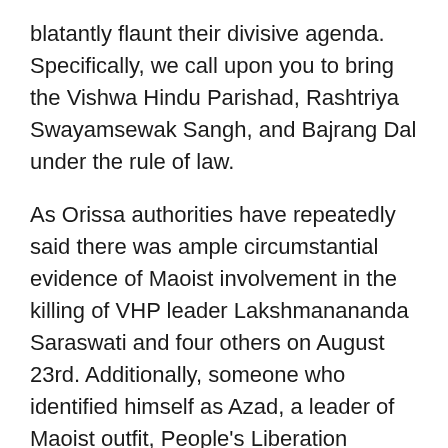blatantly flaunt their divisive agenda. Specifically, we call upon you to bring the Vishwa Hindu Parishad, Rashtriya Swayamsewak Sangh, and Bajrang Dal under the rule of law.
As Orissa authorities have repeatedly said there was ample circumstantial evidence of Maoist involvement in the killing of VHP leader Lakshmanananda Saraswati and four others on August 23rd. Additionally, someone who identified himself as Azad, a leader of Maoist outfit, People's Liberation Guerrilla Army claim responsibility for the killing as Times of India carries the news on August 30 referring to an interview with a leading Oriya daily on August 29.1 Yet Praveen Togadia, VHP general secretary, told an international journalist on August 27, “It is clear that the church killed the Swami.”2 Gouri Prasad Rath, Orissa state VHP secretary, said, “This attack is the handiwork of